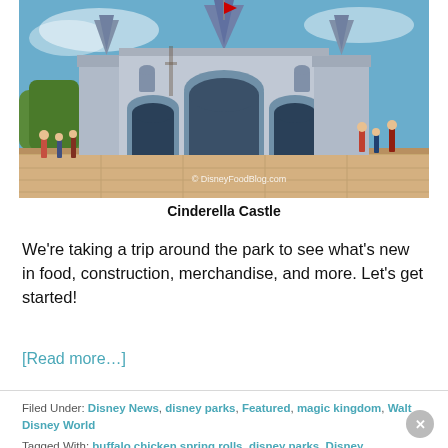[Figure (photo): Cinderella Castle at Magic Kingdom, Walt Disney World, with people walking in front on a sunny day. Watermark reads © DisneyFoodBlog.com]
Cinderella Castle
We're taking a trip around the park to see what's new in food, construction, merchandise, and more. Let's get started!
[Read more…]
Filed Under: Disney News, disney parks, Featured, magic kingdom, Walt Disney World
Tagged With: buffalo chicken spring rolls, disney parks, Disney World, jungle cruise, loki pins, magic kingdom, magic kingdom news, Magic Kingdom Updates, magic kingdom what's new, new pins, tart and tangy, what's new, what's